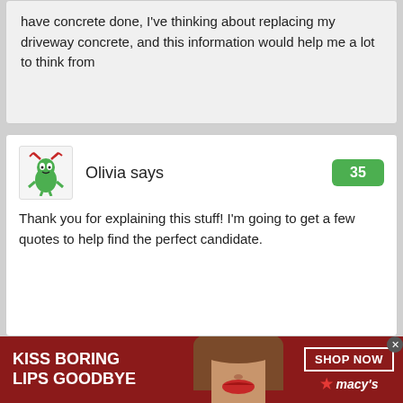have concrete done, I've thinking about replacing my driveway concrete, and this information would help me a lot to think from
Olivia says
[Figure (illustration): Cartoon avatar of a green alien/bug character with red antlers]
35
Thank you for explaining this stuff! I'm going to get a few quotes to help find the perfect candidate.
[Figure (photo): Advertisement banner: woman with red lipstick. Text: KISS BORING LIPS GOODBYE. SHOP NOW. Macy's logo.]